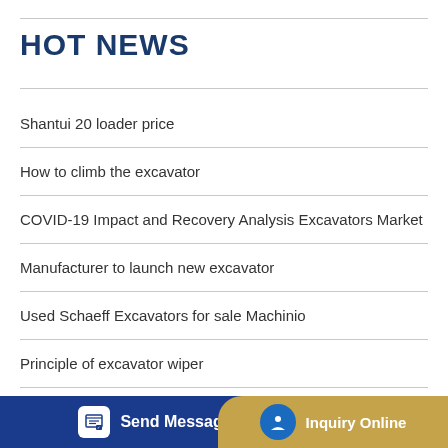HOT NEWS
Shantui 20 loader price
How to climb the excavator
COVID-19 Impact and Recovery Analysis Excavators Market
Manufacturer to launch new excavator
Used Schaeff Excavators for sale Machinio
Principle of excavator wiper
Send Message   oader   Inquiry Online